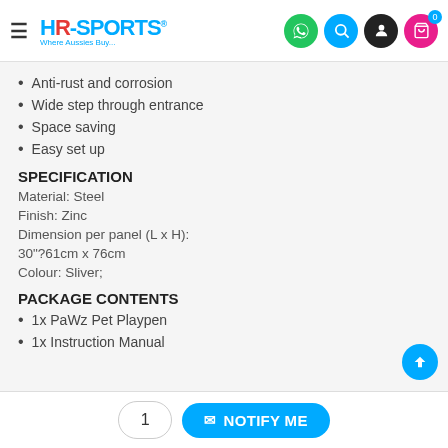HR-SPORTS Where Aussies Buy...
Anti-rust and corrosion
Wide step through entrance
Space saving
Easy set up
SPECIFICATION
Material: Steel
Finish: Zinc
Dimension per panel (L x H):
30"?61cm x 76cm
Colour: Sliver;
PACKAGE CONTENTS
1x PaWz Pet Playpen
1x Instruction Manual
1  NOTIFY ME